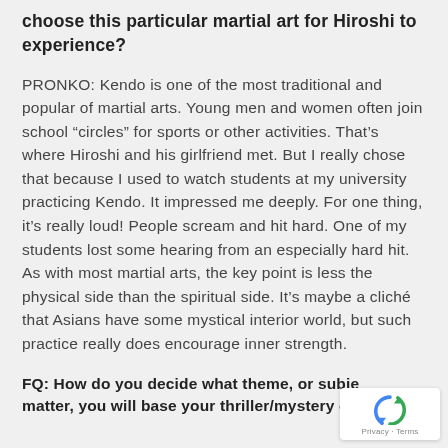choose this particular martial art for Hiroshi to experience?
PRONKO: Kendo is one of the most traditional and popular of martial arts. Young men and women often join school “circles” for sports or other activities. That’s where Hiroshi and his girlfriend met. But I really chose that because I used to watch students at my university practicing Kendo. It impressed me deeply. For one thing, it’s really loud! People scream and hit hard. One of my students lost some hearing from an especially hard hit. As with most martial arts, the key point is less the physical side than the spiritual side. It’s maybe a cliché that Asians have some mystical interior world, but such practice really does encourage inner strength.
FQ: How do you decide what theme, or subject matter, you will base your thriller/mystery o...